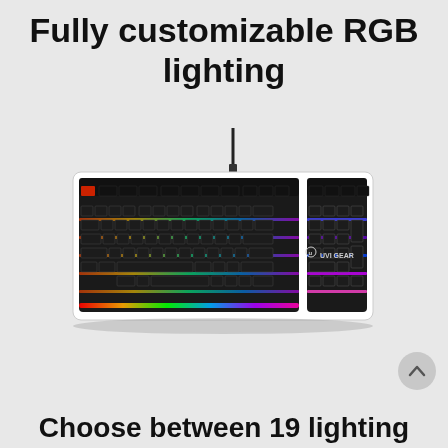Fully customizable RGB lighting
[Figure (photo): A mechanical gaming keyboard with RGB lighting, white frame and black keycaps, showing multicolor LED illumination across the keys. USB cable attached. UVI GEAR branding visible on the right side.]
Choose between 19 lighting